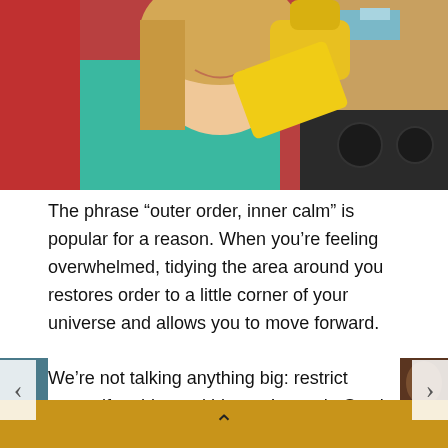[Figure (photo): A smiling young woman with blonde hair wearing a teal/mint top and yellow rubber cleaning gloves, wiping a surface with a yellow cloth in a kitchen setting.]
The phrase “outer order, inner calm” is popular for a reason. When you’re feeling overwhelmed, tidying the area around you restores order to a little corner of your universe and allows you to move forward.
We’re not talking anything big: restrict yourself to things within arm’s reach. Stack loose papers,